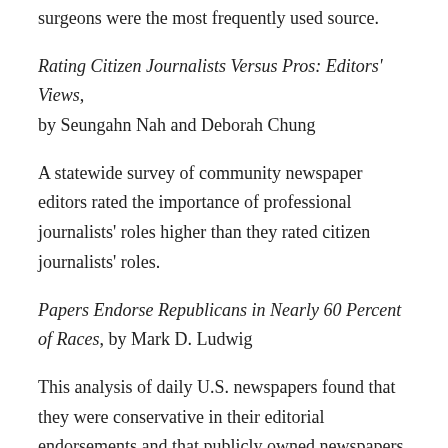surgeons were the most frequently used source.
Rating Citizen Journalists Versus Pros: Editors' Views, by Seungahn Nah and Deborah Chung
A statewide survey of community newspaper editors rated the importance of professional journalists' roles higher than they rated citizen journalists' roles.
Papers Endorse Republicans in Nearly 60 Percent of Races, by Mark D. Ludwig
This analysis of daily U.S. newspapers found that they were conservative in their editorial endorsements and that publicly owned newspapers endorsed Republicans 63 per cent of the time.